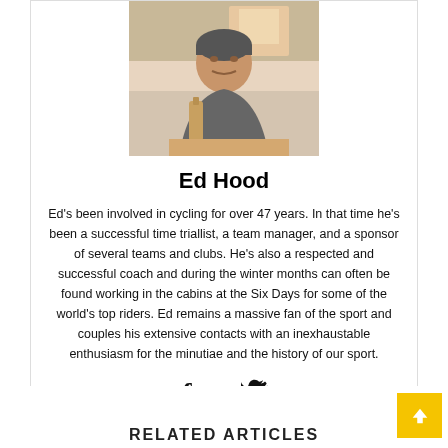[Figure (photo): Headshot photo of Ed Hood, a man sitting at a table with a bottle, wearing grey clothing]
Ed Hood
Ed's been involved in cycling for over 47 years. In that time he's been a successful time triallist, a team manager, and a sponsor of several teams and clubs. He's also a respected and successful coach and during the winter months can often be found working in the cabins at the Six Days for some of the world's top riders. Ed remains a massive fan of the sport and couples his extensive contacts with an inexhaustable enthusiasm for the minutiae and the history of our sport.
[Figure (illustration): Social media icons: Facebook (f) and Twitter (bird)]
RELATED ARTICLES